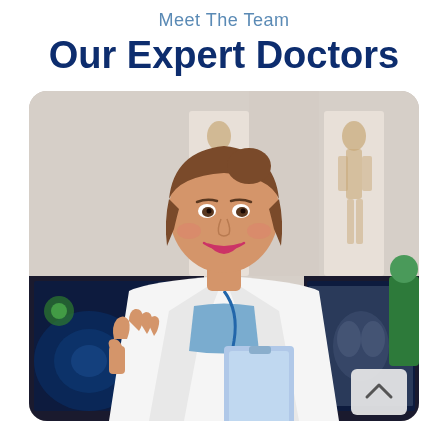Meet The Team
Our Expert Doctors
[Figure (photo): A smiling female doctor in a white lab coat holding a clipboard and giving a thumbs up, with anatomical charts and medical monitors in the background.]